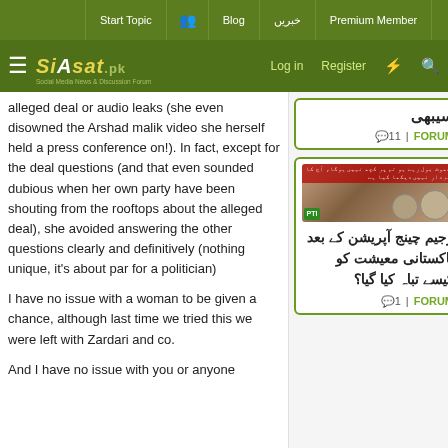Start Topic | Blog | خبریں | Premium Member | Log in | Register
Siasat.pk - Social Media News & Discussion Forum
alleged deal or audio leaks (she even disowned the Arshad malik video she herself held a press conference on!). In fact, except for the deal questions (and that even sounded dubious when her own party have been shouting from the rooftops about the alleged deal), she avoided answering the other questions clearly and definitively (nothing unique, it's about par for a politician)
I have no issue with a woman to be given a chance, although last time we tried this we were left with Zardari and co.
And I have no issue with you or anyone
[Figure (screenshot): Sidebar card with Urdu text (partially visible), showing comment count 11 and FORUM link]
[Figure (photo): Sidebar card with photo of two men sitting, with Urdu article headline about regime change operation and Pakistani economy]
رجیم چینج آپریشن کے بعد پاکستانی معیشت کو کیسے تباہ کیا گیا؟
1 | FORUM